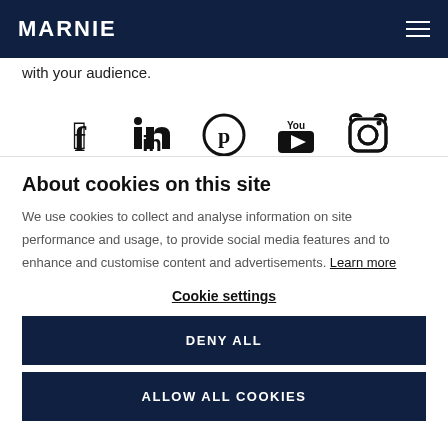MARNIE
with your audience.
[Figure (other): Row of social media icons: Facebook, LinkedIn, Pinterest, YouTube, Instagram]
About cookies on this site
We use cookies to collect and analyse information on site performance and usage, to provide social media features and to enhance and customise content and advertisements. Learn more
Cookie settings
DENY ALL
ALLOW ALL COOKIES